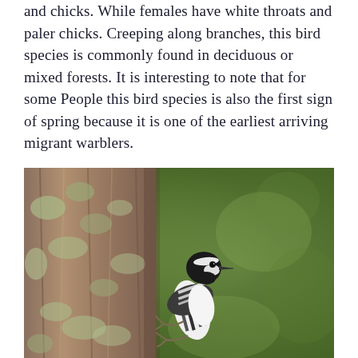and chicks. While females have white throats and paler chicks. Creeping along branches, this bird species is commonly found in deciduous or mixed forests. It is interesting to note that for some People this bird species is also the first sign of spring because it is one of the earliest arriving migrant warblers.
[Figure (photo): A black and white warbler bird clinging to the side of a tree trunk covered in lichen, with a blurred green background.]